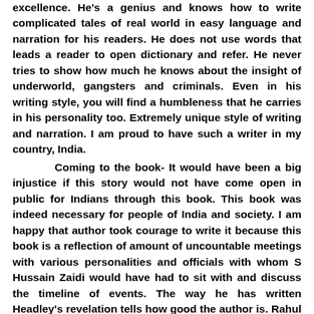excellence. He's a genius and knows how to write complicated tales of real world in easy language and narration for his readers. He does not use words that leads a reader to open dictionary and refer. He never tries to show how much he knows about the insight of underworld, gangsters and criminals. Even in his writing style, you will find a humbleness that he carries in his personality too. Extremely unique style of writing and narration. I am proud to have such a writer in my country, India.
Coming to the book- It would have been a big injustice if this story would not have come open in public for Indians through this book. This book was indeed necessary for people of India and society. I am happy that author took courage to write it because this book is a reflection of amount of uncountable meetings with various personalities and officials with whom S Hussain Zaidi would have had to sit with and discuss the timeline of events. The way he has written Headley's revelation tells how good the author is. Rahul Bhatt's part tells us about how bad Mr. Mahesh Bhatt has been to him. Rahul Bhatts hatred towards his father